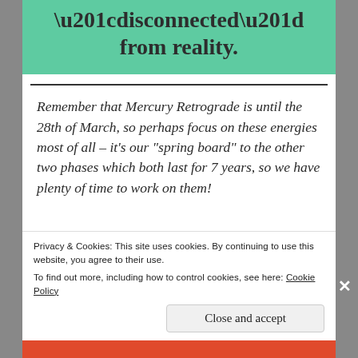“disconnected” from reality.
Remember that Mercury Retrograde is until the 28th of March, so perhaps focus on these energies most of all – it’s our “spring board” to the other two phases which both last for 7 years, so we have plenty of time to work on them!
Privacy & Cookies: This site uses cookies. By continuing to use this website, you agree to their use.
To find out more, including how to control cookies, see here: Cookie Policy